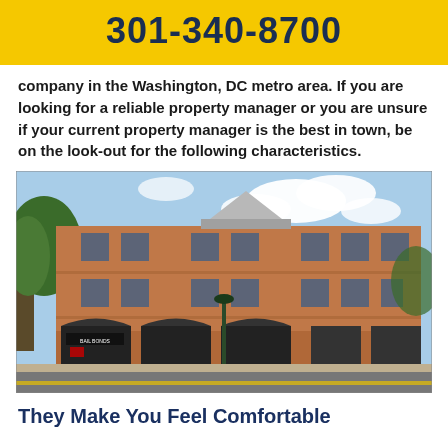301-340-8700
company in the Washington, DC metro area. If you are looking for a reliable property manager or you are unsure if your current property manager is the best in town, be on the look-out for the following characteristics.
[Figure (photo): Exterior photograph of a three-story red brick commercial office building with arched ground-floor storefronts, including a Bail Bonds sign, trees on the left, and a street lamp in front. Blue sky with clouds in background.]
They Make You Feel Comfortable